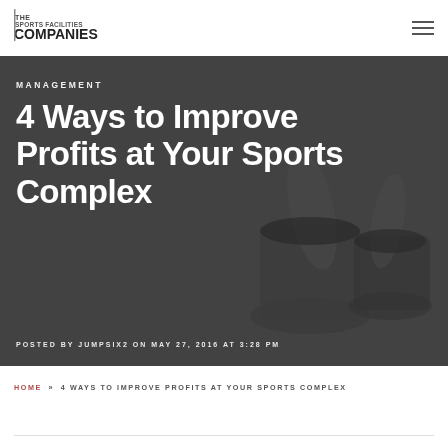THE SPORTS FACILITIES COMPANIES
[Figure (photo): Dark overlay hero image with money/plants in pots in the background, monochrome]
MANAGEMENT
4 Ways to Improve Profits at Your Sports Complex
POSTED BY JUMPSIX2 ON MAY 27, 2016 AT 3:28 PM
HOME » 4 WAYS TO IMPROVE PROFITS AT YOUR SPORTS COMPLEX